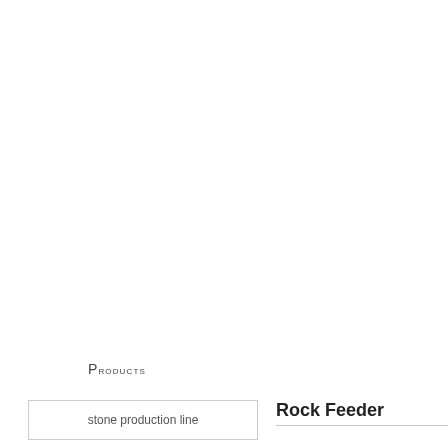Products
| stone production line |
Rock Feeder